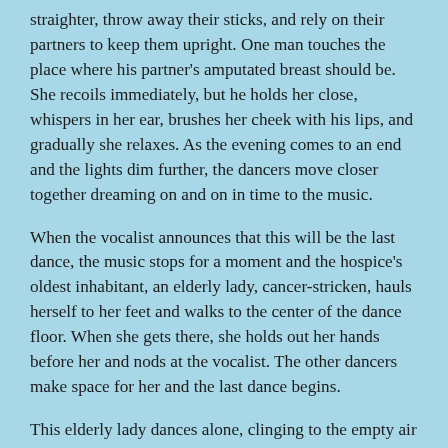straighter, throw away their sticks, and rely on their partners to keep them upright. One man touches the place where his partner's amputated breast should be. She recoils immediately, but he holds her close, whispers in her ear, brushes her cheek with his lips, and gradually she relaxes. As the evening comes to an end and the lights dim further, the dancers move closer together dreaming on and on in time to the music.
When the vocalist announces that this will be the last dance, the music stops for a moment and the hospice's oldest inhabitant, an elderly lady, cancer-stricken, hauls herself to her feet and walks to the center of the dance floor. When she gets there, she holds out her hands before her and nods at the vocalist. The other dancers make space for her and the last dance begins.
This elderly lady dances alone, clinging to the empty air as if she were dancing with a well-remembered partner. A muted spotlight highlights her as she moves. It could be midnight, in some sacred grove where shadows shift, and moonlight makes its own sweet music, and her, the spirit of the wood, moving in tune to a rhythm that promises, in spite of